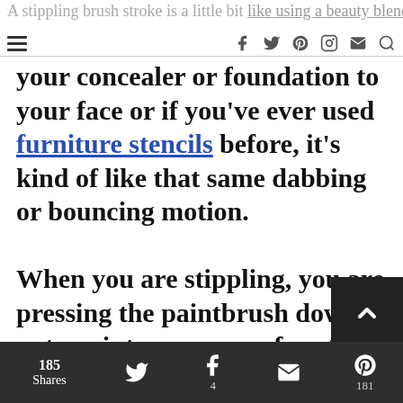A stippling brush stroke is a little bit like using a beauty blender to apply
your concealer or foundation to your face or if you've ever used furniture stencils before, it's kind of like that same dabbing or bouncing motion.

When you are stippling, you are pressing the paintbrush down onto paint on your surface then you're bringing the paintbrush right back up
185 Shares | Twitter | Facebook 4 | Mail | Pinterest 181